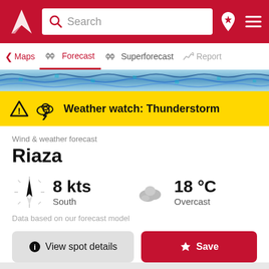[Figure (screenshot): Red app header bar with logo, search box, and navigation icons]
Search
Maps | Forecast | Superforecast | Report
[Figure (infographic): Wind map animation strip showing wind patterns over landscape]
Weather watch: Thunderstorm
Wind & weather forecast
Riaza
8 kts South
18 °C Overcast
Data based on our forecast model
View spot details
Save